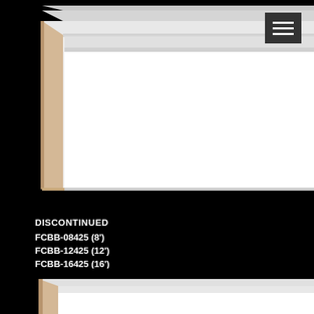[Figure (photo): Close-up photo of a white primed MDF baseboard molding on a black background, showing the profile with a beveled top edge and flat face. The MDF core is visible on the left side end.]
DISCONTINUED
FCBB-08425 (8')
FCBB-12425 (12')
FCBB-16425 (16')
Finish: Primed
FC 4 1/4" MDF Baseboard (Thickness and Height 3/4" x 4 1/4")
[Figure (photo): Partial photo of another white primed MDF baseboard molding visible at the bottom of the page.]